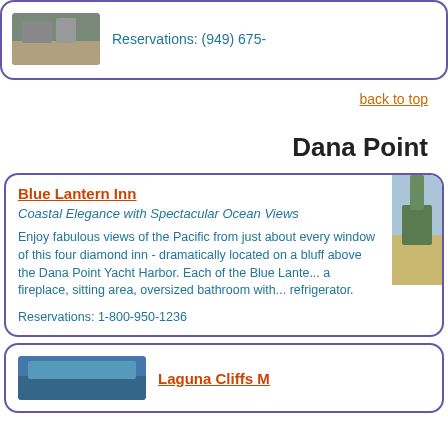[Figure (photo): Top card with a photo of an outdoor area and partial reservations phone number starting with (949) 675-]
Reservations: (949) 675-
back to top
Dana Point
Blue Lantern Inn
Coastal Elegance with Spectacular Ocean Views
Enjoy fabulous views of the Pacific from just about every window of this four diamond inn - dramatically located on a bluff above the Dana Point Yacht Harbor. Each of the Blue Lante... a fireplace, sitting area, oversized bathroom with... refrigerator.
Reservations: 1-800-950-1236
[Figure (photo): Photo of Blue Lantern Inn exterior with blue sky and trees]
Laguna Cliffs M
[Figure (photo): Photo of Laguna Cliffs property, blue toned image]